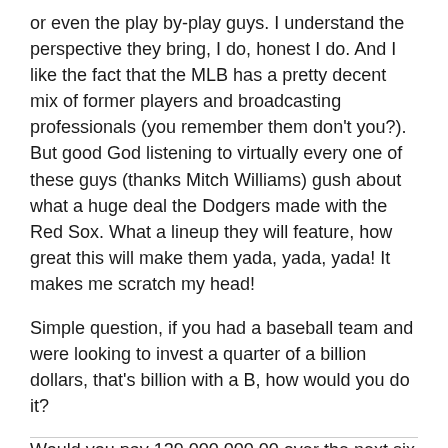or even the play by-play guys. I understand the perspective they bring, I do, honest I do. And I like the fact that the MLB has a pretty decent mix of former players and broadcasting professionals (you remember them don't you?). But good God listening to virtually every one of these guys (thanks Mitch Williams) gush about what a huge deal the Dodgers made with the Red Sox. What a lineup they will feature, how great this will make them yada, yada, yada! It makes me scratch my head!
Simple question, if you had a baseball team and were looking to invest a quarter of a billion dollars, that's billion with a B, how would you do it?
Would you pay 129,000,000.00 over the next six years for a 31-year-old first baseman?